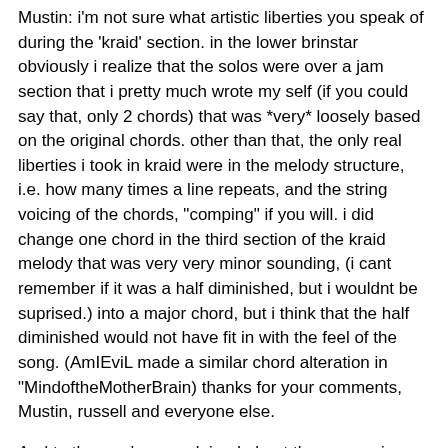Mustin: i'm not sure what artistic liberties you speak of during the 'kraid' section. in the lower brinstar obviously i realize that the solos were over a jam section that i pretty much wrote my self (if you could say that, only 2 chords) that was *very* loosely based on the original chords. other than that, the only real liberties i took in kraid were in the melody structure, i.e. how many times a line repeats, and the string voicing of the chords, "comping" if you will. i did change one chord in the third section of the kraid melody that was very very minor sounding, (i cant remember if it was a half diminished, but i wouldnt be suprised.) into a major chord, but i think that the half diminished would not have fit in with the feel of the song. (AmIEviL made a similar chord alteration in "MindoftheMotherBrain) thanks for your comments, Mustin, russell and everyone else.
And to those who complained about the percussion: DEAL WITH IT. 🙂
EDIT 2: in response to the judge decisions, Analoq: at 1:39, (assuming you're listening to the 7 minute posted version, not the 9 minute original) that particular passage is all synth, so there are no off-key notes.
Malcos: thanks for your support, but i was taken aback by your suggestion of "cutting down the drawn out ending." to make the song shorter. personally, that drawn out ending is my favorite part of the song.